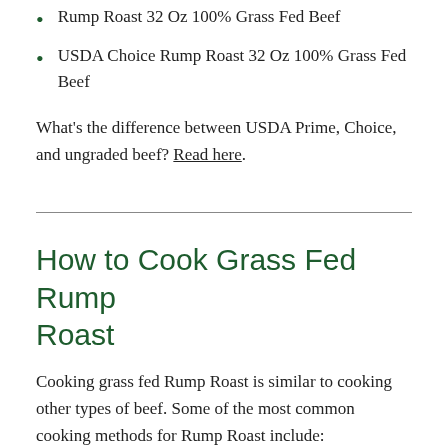Rump Roast 32 Oz 100% Grass Fed Beef
USDA Choice Rump Roast 32 Oz 100% Grass Fed Beef
What's the difference between USDA Prime, Choice, and ungraded beef? Read here.
How to Cook Grass Fed Rump Roast
Cooking grass fed Rump Roast is similar to cooking other types of beef. Some of the most common cooking methods for Rump Roast include:
Roast/Bake